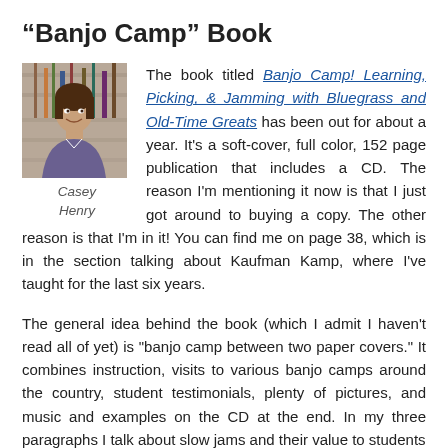“Banjo Camp” Book
[Figure (photo): Headshot photo of Casey Henry]
Casey Henry
The book titled Banjo Camp! Learning, Picking, & Jamming with Bluegrass and Old-Time Greats has been out for about a year. It’s a soft-cover, full color, 152 page publication that includes a CD. The reason I’m mentioning it now is that I just got around to buying a copy. The other reason is that I’m in it! You can find me on page 38, which is in the section talking about Kaufman Kamp, where I’ve taught for the last six years.
The general idea behind the book (which I admit I haven’t read all of yet) is “banjo camp between two paper covers.” It combines instruction, visits to various banjo camps around the country, student testimonials, plenty of pictures, and music and examples on the CD at the end. In my three paragraphs I talk about slow jams and their value to students